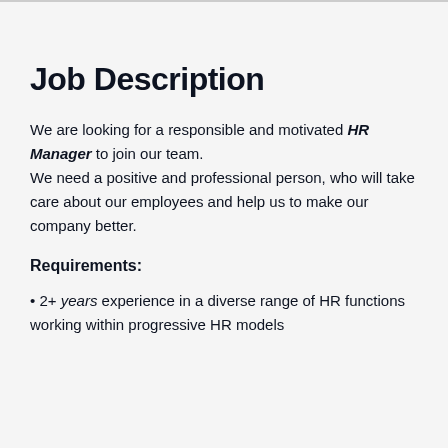Job Description
We are looking for a responsible and motivated HR Manager to join our team.
We need a positive and professional person, who will take care about our employees and help us to make our company better.
Requirements:
• 2+ years experience in a diverse range of HR functions working within progressive HR models